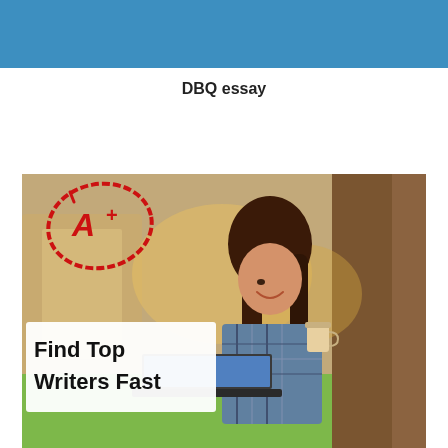[Figure (other): Blue header banner bar at the top of the page]
DBQ essay
[Figure (photo): Promotional advertisement image showing a college-aged woman with long brown hair sitting outside against a tree, smiling and using a laptop while holding a coffee cup. Overlaid text reads 'Find Top Writers Fast' in bold black letters on a white background. A red hand-drawn circle with 'A+' is in the upper left corner of the image.]